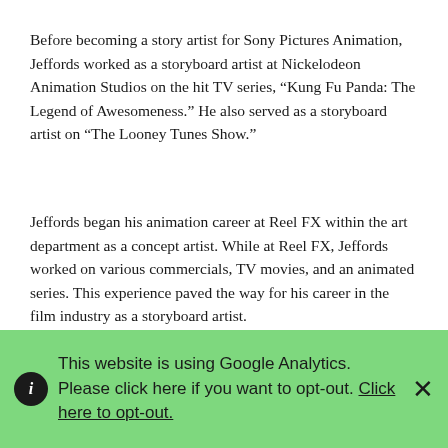Before becoming a story artist for Sony Pictures Animation, Jeffords worked as a storyboard artist at Nickelodeon Animation Studios on the hit TV series, “Kung Fu Panda: The Legend of Awesomeness.” He also served as a storyboard artist on “The Looney Tunes Show.”
Jeffords began his animation career at Reel FX within the art department as a concept artist. While at Reel FX, Jeffords worked on various commercials, TV movies, and an animated series. This experience paved the way for his career in the film industry as a storyboard artist.
Jeffords is a graduate of Ringling College of Art and
This website is using Google Analytics. Please click here if you want to opt-out. Click here to opt-out.